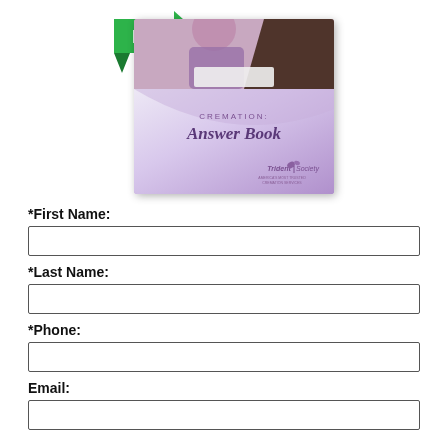[Figure (photo): A free Cremation Answer Book promotional image showing the book cover with a purple/lavender wave design and a photo of two people at a desk, with a green arrow-shaped FREE badge overlay. Published by Trident Society.]
*First Name:
*Last Name:
*Phone:
Email: